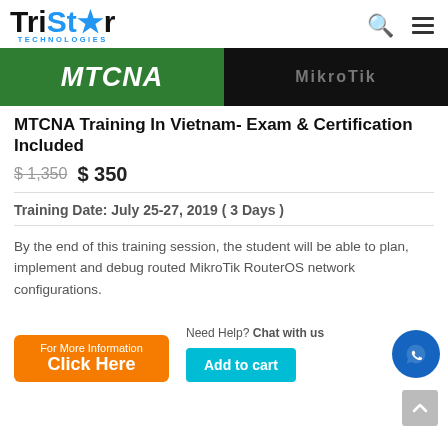TriStar Technologies
[Figure (illustration): MTCNA banner image with green section showing 'MTCNA' text and black section with 'MikroTik' logo]
MTCNA Training In Vietnam- Exam & Certification Included
$ 1,350  $ 350
Training Date: July 25-27, 2019 ( 3 Days )
By the end of this training session, the student will be able to plan, implement and debug routed MikroTik RouterOS network configurations.
For More Information Click Here
Need Help? Chat with us
Add to cart